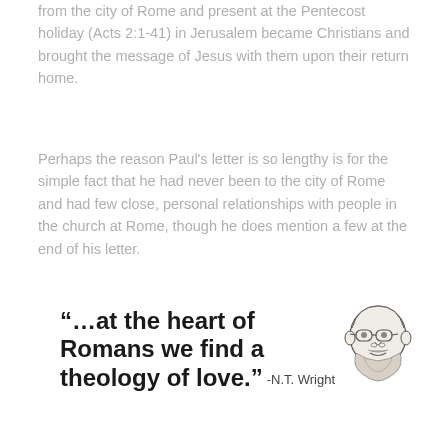from the city of Rome and present at the Pentecost holiday (Acts 2:1-41) in Jerusalem became Christians and brought the message of Jesus with them upon their return home.
Perhaps the reason Paul's letter is so lengthy is for the simple fact that he had never been to the city of Rome and had few close, personal relationships with people in the church at Rome, though he does mention a few at the end of his letter.
“…at the heart of Romans we find a theology of love.” -N.T. Wright